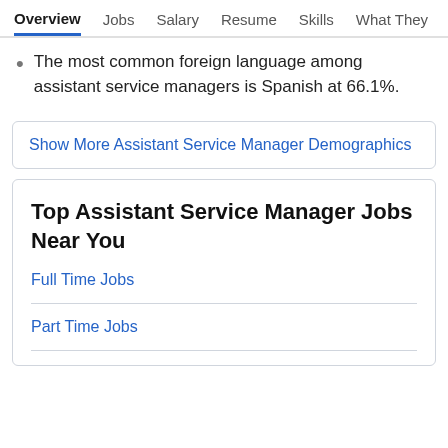Overview   Jobs   Salary   Resume   Skills   What They >
The most common foreign language among assistant service managers is Spanish at 66.1%.
Show More Assistant Service Manager Demographics
Top Assistant Service Manager Jobs Near You
Full Time Jobs
Part Time Jobs